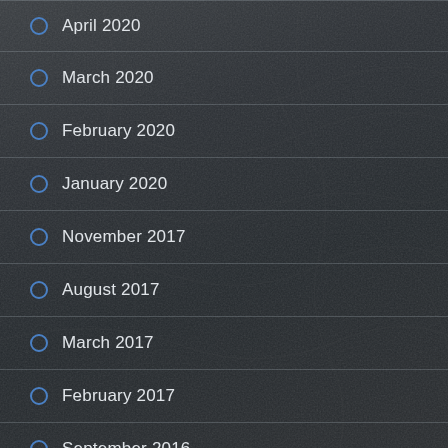April 2020
March 2020
February 2020
January 2020
November 2017
August 2017
March 2017
February 2017
September 2016